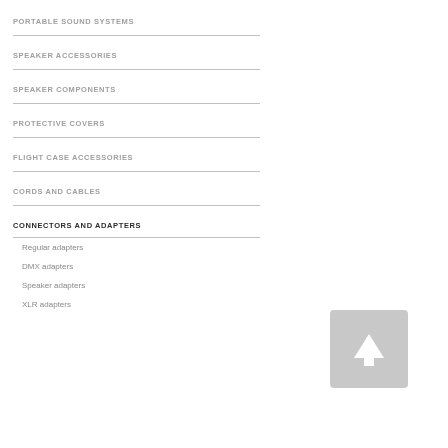PORTABLE SOUND SYSTEMS
SPEAKER ACCESSORIES
SPEAKER COMPONENTS
PROTECTIVE COVERS
FLIGHT CASE ACCESSORIES
CORDS AND CABLES
CONNECTORS AND ADAPTERS
Regular adapters
DMX adapters
Speaker adapters
XLR adapters
[Figure (illustration): Up arrow icon in a light grey rounded rectangle button]